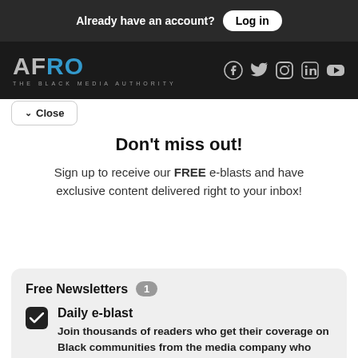Already have an account? Log in
[Figure (logo): AFRO - THE BLACK MEDIA AUTHORITY logo with social media icons (Facebook, Twitter, Instagram, LinkedIn, YouTube)]
Close
Don't miss out!
Sign up to receive our FREE e-blasts and have exclusive content delivered right to your inbox!
Free Newsletters 1
Daily e-blast - Join thousands of readers who get their coverage on Black communities from the media company who has been doing it